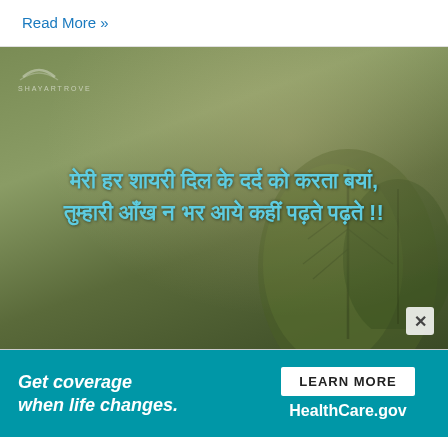Read More »
[Figure (photo): Shayari image with Hindi text overlay on a blurred green leaf background. Text reads: मेरी हर शायरी दिल के दर्द को करता बयां, तुम्हारी आँख न भर आये कहीं पढ़ते पढ़ते !!]
[Figure (infographic): HealthCare.gov advertisement banner: 'Get coverage when life changes.' with 'LEARN MORE' button and HealthCare.gov branding on teal background]